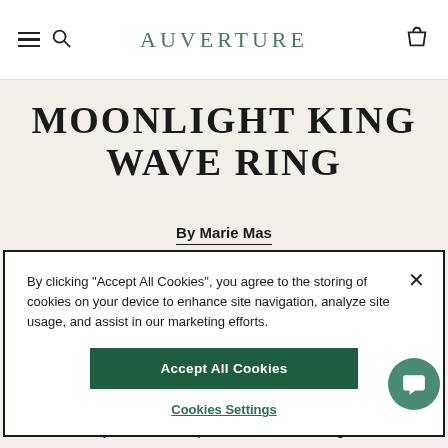AUVERTURE
MOONLIGHT KING WAVE RING
By Marie Mas
By clicking "Accept All Cookies", you agree to the storing of cookies on your device to enhance site navigation, analyze site usage, and assist in our marketing efforts.
Accept All Cookies
Cookies Settings
adjust to the shape of the wearer's finger,